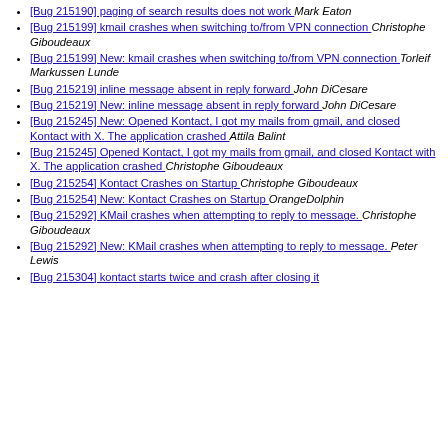[Bug 215190] paging of search results does not work  Mark Eaton
[Bug 215199] kmail crashes when switching to/from VPN connection  Christophe Giboudeaux
[Bug 215199] New: kmail crashes when switching to/from VPN connection  Torleif Markussen Lunde
[Bug 215219] inline message absent in reply forward  John DiCesare
[Bug 215219] New: inline message absent in reply forward  John DiCesare
[Bug 215245] New: Opened Kontact, I got my mails from gmail, and closed Kontact with X. The application crashed  Attila Balint
[Bug 215245] Opened Kontact, I got my mails from gmail, and closed Kontact with X. The application crashed  Christophe Giboudeaux
[Bug 215254] Kontact Crashes on Startup  Christophe Giboudeaux
[Bug 215254] New: Kontact Crashes on Startup  OrangeDolphin
[Bug 215292] KMail crashes when attempting to reply to message.  Christophe Giboudeaux
[Bug 215292] New: KMail crashes when attempting to reply to message.  Peter Lewis
[Bug 215304] kontact starts twice and crash after closing it